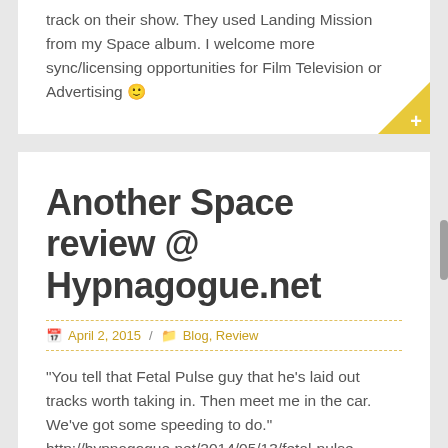track on their show. They used Landing Mission from my Space album. I welcome more sync/licensing opportunities for Film Television or Advertising 🙂
Another Space review @ Hypnagogue.net
April 2, 2015 / Blog, Review
"You tell that Fetal Pulse guy that he's laid out tracks worth taking in. Then meet me in the car. We've got some speeding to do." http://hypnagogue.net/2014/05/13/fetal-pulse-space/